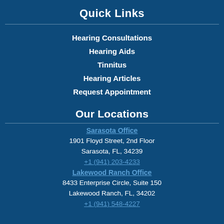Quick Links
Hearing Consultations
Hearing Aids
Tinnitus
Hearing Articles
Request Appointment
Our Locations
Sarasota Office
1901 Floyd Street, 2nd Floor
Sarasota, FL, 34239
+1 (941) 203-4233
Lakewood Ranch Office
8433 Enterprise Circle, Suite 150
Lakewood Ranch, FL, 34202
+1 (941) 548-4227